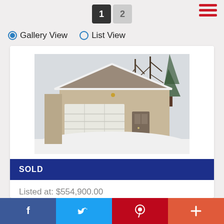1 2
[Figure (photo): Exterior photo of a suburban house in winter with snow on the ground, a double garage door, and bare trees in background]
SOLD
Listed at: $554,900.00
LISTING # 1144601
1702 DES PERDRIX Crescent Ottawa, ON K1C 5E1
f  Twitter  p  +